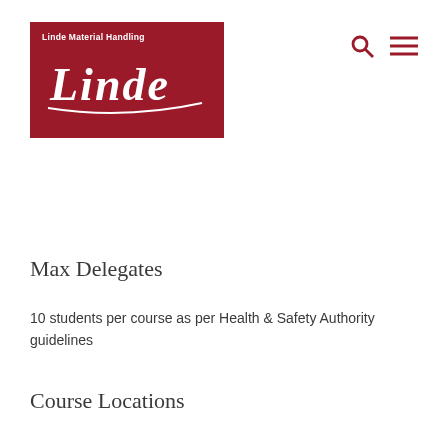[Figure (logo): Linde Material Handling logo — dark red rectangle with 'Linde Material Handling' text at top and Linde script wordmark in white below]
Max Delegates
10 students per course as per Health & Safety Authority guidelines
Course Locations